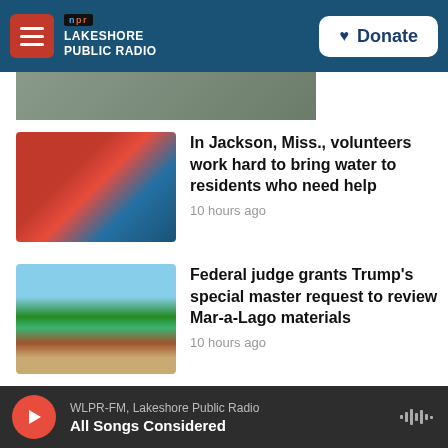NPR — LAKESHORE PUBLIC RADIO | Donate
[Figure (photo): Cropped bottom portion of a news thumbnail image]
In Jackson, Miss., volunteers work hard to bring water to residents who need help
10 hours ago
Federal judge grants Trump's special master request to review Mar-a-Lago materials
10 hours ago
WLPR-FM, Lakeshore Public Radio — All Songs Considered